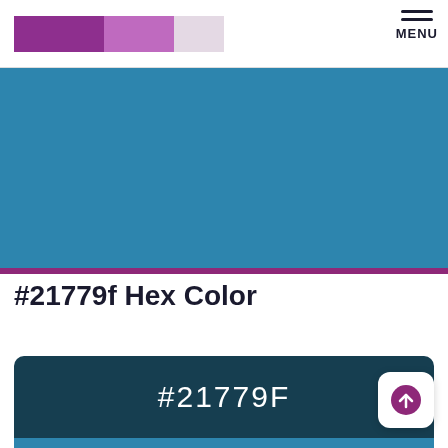[Figure (illustration): Website header with color swatches (dark purple, medium purple, light lavender) and MENU button with hamburger icon in top right]
[Figure (illustration): Large blue color banner (#2d85ae steel blue) filling the width of the page below the header]
#21779f Hex Color
[Figure (illustration): Color preview card with dark teal top section displaying '#21779F' text in white, and a brighter blue bottom section showing the actual hex color #21779f]
[Figure (illustration): Scroll to top button with purple circle-arrow icon on white rounded square background]